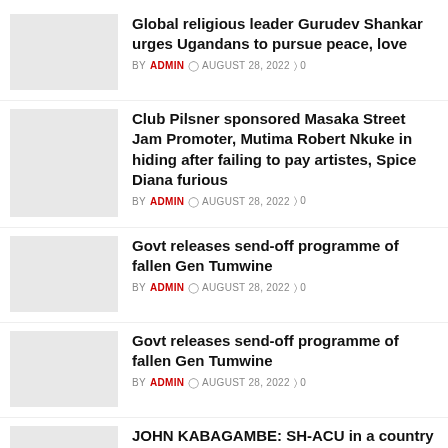Global religious leader Gurudev Shankar urges Ugandans to pursue peace, love | BY ADMIN | AUGUST 28, 2022 | 0
Club Pilsner sponsored Masaka Street Jam Promoter, Mutima Robert Nkuke in hiding after failing to pay artistes, Spice Diana furious | BY ADMIN | AUGUST 28, 2022 | 0
Govt releases send-off programme of fallen Gen Tumwine | BY ADMIN | AUGUST 28, 2022 | 0
Govt releases send-off programme of fallen Gen Tumwine | BY ADMIN | AUGUST 28, 2022 | 0
JOHN KABAGAMBE: SH-ACU in a country wide anti-corruption mop-up operation | BY ADMIN | AUGUST 28, 2022 | 0